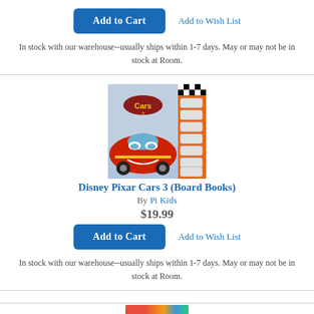Add to Wish List
Add to Cart
In stock with our warehouse--usually ships within 1-7 days. May or may not be in stock at Room.
[Figure (photo): Book cover of Disney Pixar Cars 3 (Board Books) featuring Lightning McQueen and a sound button panel on the right side with an orange border]
Disney Pixar Cars 3 (Board Books)
By Pi Kids
$19.99
Add to Wish List
Add to Cart
In stock with our warehouse--usually ships within 1-7 days. May or may not be in stock at Room.
[Figure (photo): Partial book cover visible at bottom of page]